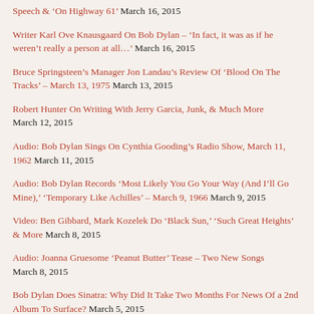Speech & ‘On Highway 61’ March 16, 2015
Writer Karl Ove Knausgaard On Bob Dylan – ‘In fact, it was as if he weren’t really a person at all…’ March 16, 2015
Bruce Springsteen’s Manager Jon Landau’s Review Of ‘Blood On The Tracks’ – March 13, 1975 March 13, 2015
Robert Hunter On Writing With Jerry Garcia, Junk, & Much More March 12, 2015
Audio: Bob Dylan Sings On Cynthia Gooding’s Radio Show, March 11, 1962 March 11, 2015
Audio: Bob Dylan Records ‘Most Likely You Go Your Way (And I’ll Go Mine),’ ‘Temporary Like Achilles’ – March 9, 1966 March 9, 2015
Video: Ben Gibbard, Mark Kozelek Do ‘Black Sun,’ ‘Such Great Heights’ & More March 8, 2015
Audio: Joanna Gruesome ‘Peanut Butter’ Tease – Two New Songs March 8, 2015
Bob Dylan Does Sinatra: Why Did It Take Two Months For News Of a 2nd Album To Surface? March 5, 2015